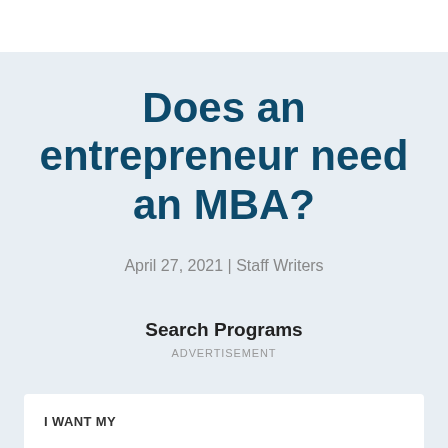Does an entrepreneur need an MBA?
April 27, 2021 | Staff Writers
Search Programs
ADVERTISEMENT
I WANT MY